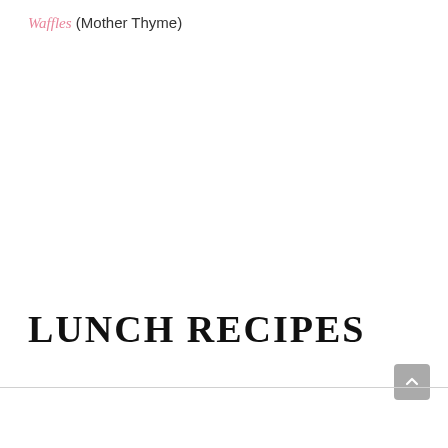Waffles (Mother Thyme)
LUNCH RECIPES